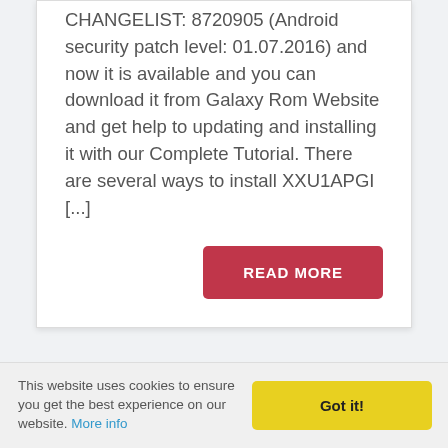CHANGELIST: 8720905 (Android security patch level: 01.07.2016) and now it is available and you can download it from Galaxy Rom Website and get help to updating and installing it with our Complete Tutorial. There are several ways to install XXU1APGI [...]
READ MORE
Search...
This website uses cookies to ensure you get the best experience on our website. More info
Got it!